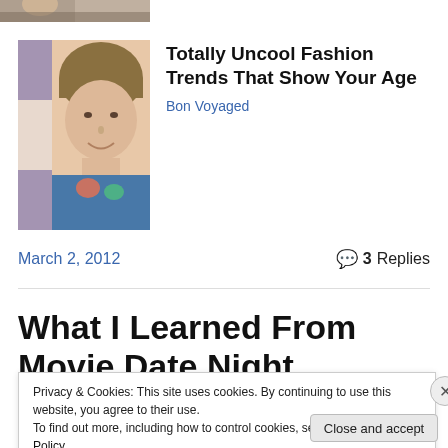[Figure (photo): Partial image strip at top of page showing a person]
[Figure (photo): Thumbnail image of a woman with short hair smiling, used as article card image]
Totally Uncool Fashion Trends That Show Your Age
Bon Voyaged
March 2, 2012
3 Replies
What I Learned From Movie Date Night
Privacy & Cookies: This site uses cookies. By continuing to use this website, you agree to their use.
To find out more, including how to control cookies, see here: Cookie Policy
Close and accept